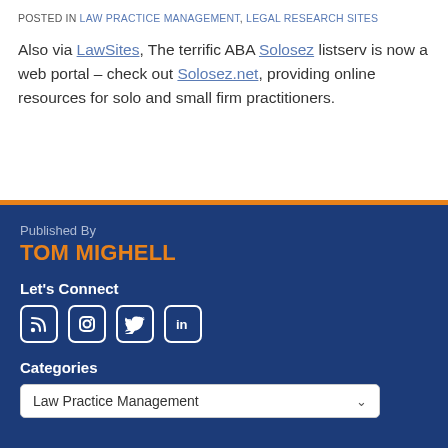POSTED IN LAW PRACTICE MANAGEMENT, LEGAL RESEARCH SITES
Also via LawSites, The terrific ABA Solosez listserv is now a web portal – check out Solosez.net, providing online resources for solo and small firm practitioners.
Published By
TOM MIGHELL
Let's Connect
[Figure (infographic): Social media icons: RSS feed, Instagram, Twitter, LinkedIn]
Categories
Law Practice Management